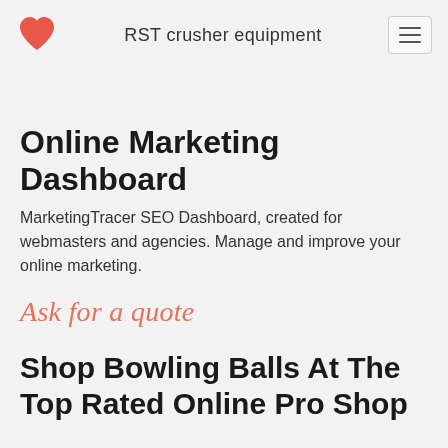RST crusher equipment
Online Marketing Dashboard
MarketingTracer SEO Dashboard, created for webmasters and agencies. Manage and improve your online marketing.
Ask for a quote
Shop Bowling Balls At The Top Rated Online Pro Shop